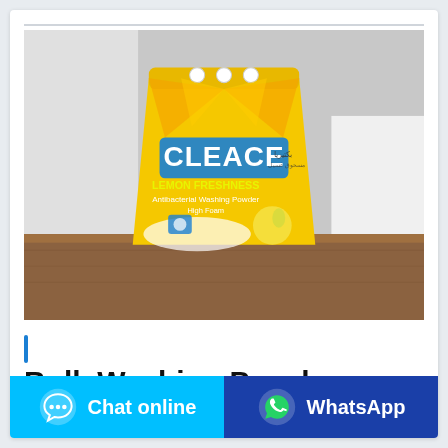[Figure (photo): A yellow bag of CLEACE Lemon Freshness Antibacterial Washing Powder sitting on a wooden surface, with white curtains in the background.]
Bulk Washing Powder